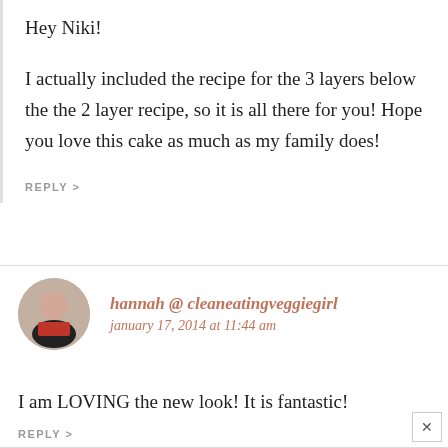Hey Niki!
I actually included the recipe for the 3 layers below the the 2 layer recipe, so it is all there for you! Hope you love this cake as much as my family does!
REPLY >
hannah @ cleaneatingveggiegirl
january 17, 2014 at 11:44 am
I am LOVING the new look! It is fantastic!
REPLY >